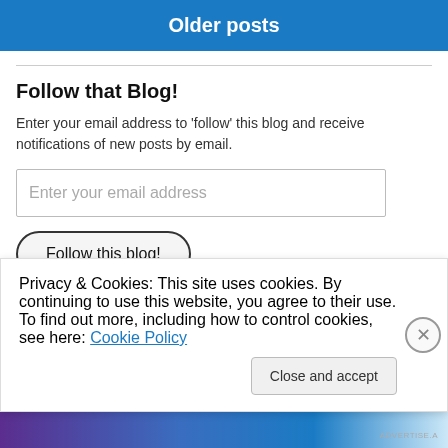Older posts
Follow that Blog!
Enter your email address to 'follow' this blog and receive notifications of new posts by email.
Enter your email address
Follow this blog!
Privacy & Cookies: This site uses cookies. By continuing to use this website, you agree to their use.
To find out more, including how to control cookies, see here: Cookie Policy
Close and accept